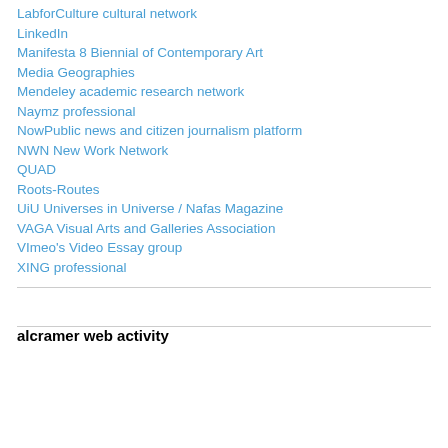LabforCulture cultural network
LinkedIn
Manifesta 8 Biennial of Contemporary Art
Media Geographies
Mendeley academic research network
Naymz professional
NowPublic news and citizen journalism platform
NWN New Work Network
QUAD
Roots-Routes
UiU Universes in Universe / Nafas Magazine
VAGA Visual Arts and Galleries Association
VImeo's Video Essay group
XING professional
alcramer web activity